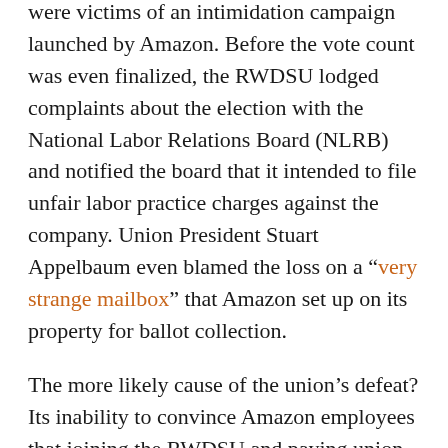were victims of an intimidation campaign launched by Amazon. Before the vote count was even finalized, the RWDSU lodged complaints about the election with the National Labor Relations Board (NLRB) and notified the board that it intended to file unfair labor practice charges against the company. Union President Stuart Appelbaum even blamed the loss on a “very strange mailbox” that Amazon set up on its property for ballot collection.
The more likely cause of the union’s defeat? Its inability to convince Amazon employees that joining the RWDSU and paying union dues was in their best interest.
Several employees who opposed the union detailed the reasoning behind their decision during a press conference hosted by Amazon after the vote. Many noted that the RWDSU’s claims that workers were